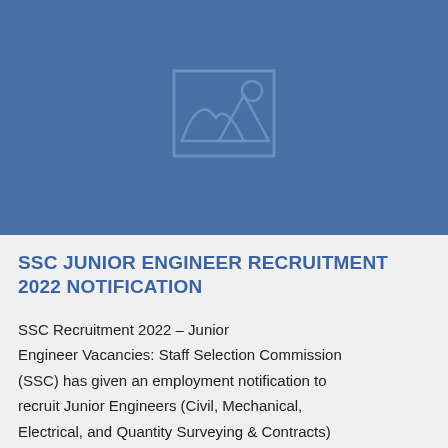[Figure (photo): Blue placeholder image with a broken image icon (mountain/landscape outline) centered on a blue background]
SSC JUNIOR ENGINEER RECRUITMENT 2022 NOTIFICATION
SSC Recruitment 2022 – Junior Engineer Vacancies: Staff Selection Commission (SSC) has given an employment notification to recruit Junior Engineers (Civil, Mechanical, Electrical, and Quantity Surveying & Contracts) Examination 2022. SSC has announced new job